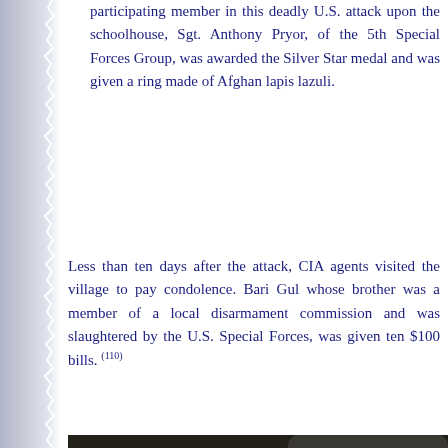participating member in this deadly U.S. attack upon the schoolhouse, Sgt. Anthony Pryor, of the 5th Special Forces Group, was awarded the Silver Star medal and was given a ring made of Afghan lapis lazuli.
Less than ten days after the attack, CIA agents visited the village to pay condolence. Bari Gul whose brother was a member of a local disarmament commission and was slaughtered by the U.S. Special Forces, was given ten $100 bills. (110)
[Figure (photo): A bearded Afghan man holding a fan of US $100 bills, photographed against a dark background.]